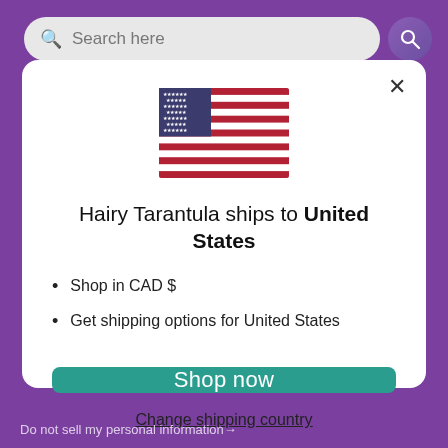[Figure (screenshot): Screenshot of a website header with purple background, search bar, and logo]
[Figure (illustration): United States flag illustration]
Hairy Tarantula ships to United States
Shop in CAD $
Get shipping options for United States
Shop now
Change shipping country
Do not sell my personal information→